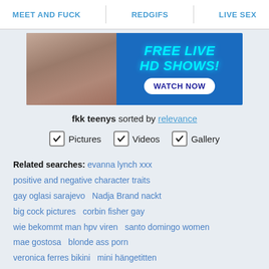MEET AND FUCK   REDGIFS   LIVE SEX
[Figure (photo): Advertisement banner showing a woman in pink lingerie on left side and 'FREE LIVE HD SHOWS! WATCH NOW' text on blue background on right side]
fkk teenys sorted by relevance
✓ Pictures  ✓ Videos  ✓ Gallery
Related searches: evanna lynch xxx positive and negative character traits gay oglasi sarajevo Nadja Brand nackt big cock pictures corbin fisher gay wie bekommt man hpv viren santo domingo women mae gostosa blonde ass porn veronica ferres bikini mini hängetitten Rossi Simona alt zu alt zu sexy